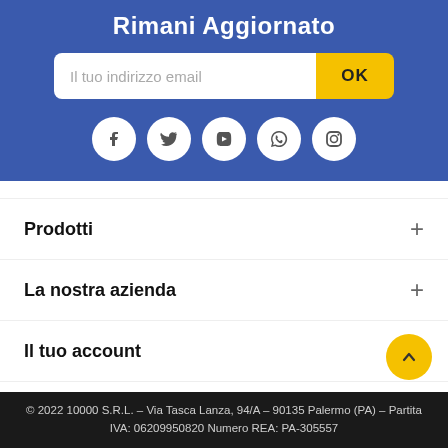Rimani Aggiornato
[Figure (infographic): Email subscription form with text field 'Il tuo indirizzo email' and yellow OK button]
[Figure (infographic): Social media icons row: Facebook, Twitter, YouTube, WhatsApp, Instagram in white circles on blue background]
Prodotti +
La nostra azienda +
Il tuo account +
Informazioni negozio +
© 2022 10000 S.R.L. – Via Tasca Lanza, 94/A – 90135 Palermo (PA) – Partita IVA: 06209950820 Numero REA: PA-305557